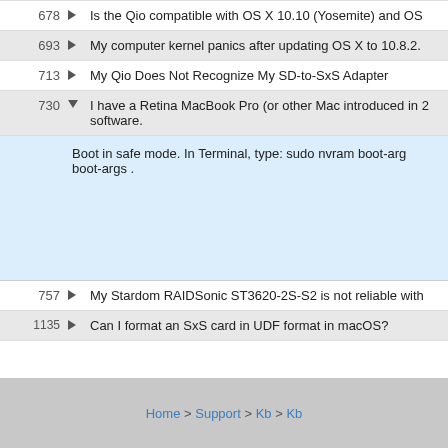678 ▶ Is the Qio compatible with OS X 10.10 (Yosemite) and OS
693 ▶ My computer kernel panics after updating OS X to 10.8.2.
713 ▶ My Qio Does Not Recognize My SD-to-SxS Adapter
730 ▼ I have a Retina MacBook Pro (or other Mac introduced in 2... software.
Boot in safe mode. In Terminal, type: sudo nvram boot-arg... boot-args .
757 ▶ My Stardom RAIDSonic ST3620-2S-S2 is not reliable with
1135 ▶ Can I format an SxS card in UDF format in macOS?
Home > Support > Kb > Kb